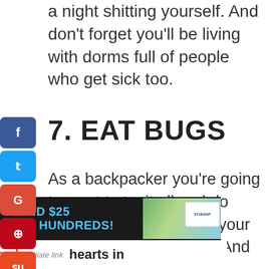a night shitting yourself. And don't forget you'll be living with dorms full of people who get sick too.
7. EAT BUGS
As a backpacker you're going to want to try it all and do things that would make your friends at home squirm. And that usually
[Figure (infographic): Advertisement banner: dark background with blue circle logo, text 'SPEND $25 SAVE HUNDREDS!' in cyan, photo of young people outdoors, student card image]
San Road  Affiliate link  hearts in